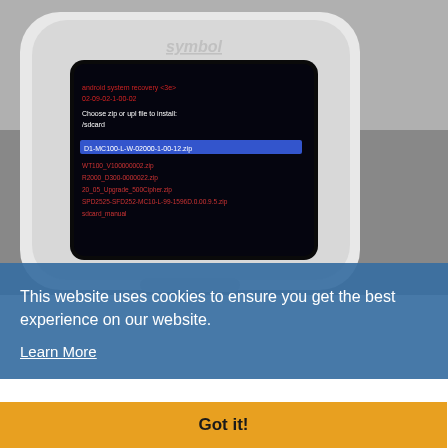[Figure (photo): Photo of a Symbol brand handheld barcode scanner/mobile computer showing a blue screen with red and white text listing files, with one file highlighted in blue. The scanner has a white/grey body with rounded top. Device screen shows 'symbol' branding and a file selection menu.]
This website uses cookies to ensure you get the best experience on our website.
Learn More
Got it!